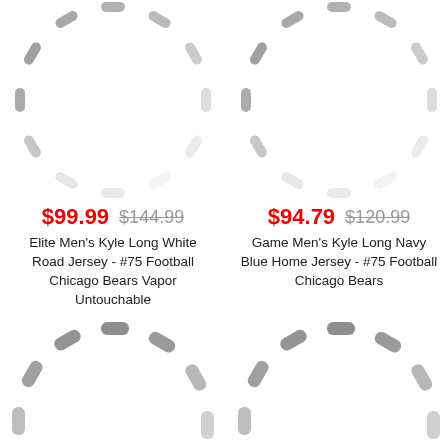[Figure (illustration): Loading spinner graphic (top-left), partially cropped at top]
[Figure (illustration): Loading spinner graphic (top-right), partially cropped at top]
$99.99  $144.99
Elite Men's Kyle Long White Road Jersey - #75 Football Chicago Bears Vapor Untouchable
$94.79  $120.99
Game Men's Kyle Long Navy Blue Home Jersey - #75 Football Chicago Bears
[Figure (illustration): Loading spinner graphic (bottom-left)]
[Figure (illustration): Loading spinner graphic (bottom-right)]